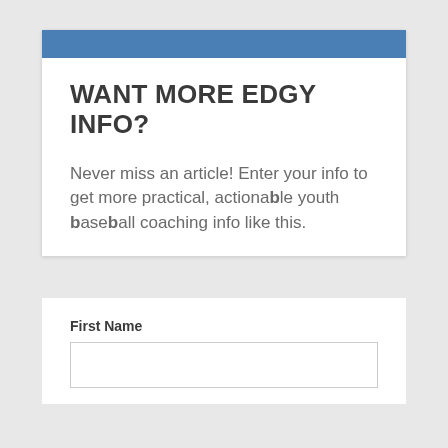WANT MORE EDGY INFO?
Never miss an article! Enter your info to get more practical, actionable youth baseball coaching info like this.
First Name